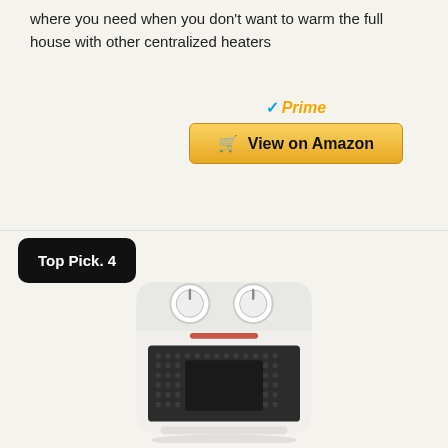where you need when you don't want to warm the full house with other centralized heaters
✓Prime
🛒 View on Amazon
Top Pick. 4
[Figure (photo): A white ceramic space heater with black front grille, two rotary dials on top, and a red indicator light]